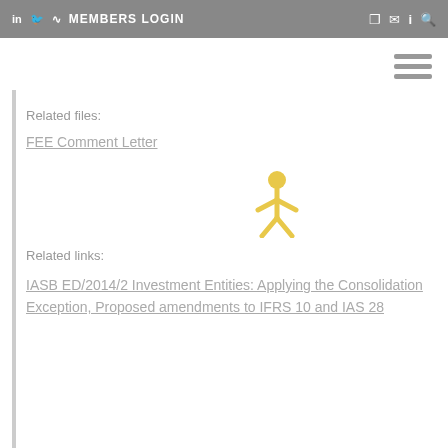in  twitter  rss  MEMBERS LOGIN  share  mail  i  search
[Figure (other): Hamburger menu icon (three horizontal lines) in top right area]
Related files:
FEE Comment Letter
[Figure (illustration): Yellow person/accessibility icon]
Related links:
IASB ED/2014/2 Investment Entities: Applying the Consolidation Exception, Proposed amendments to IFRS 10 and IAS 28